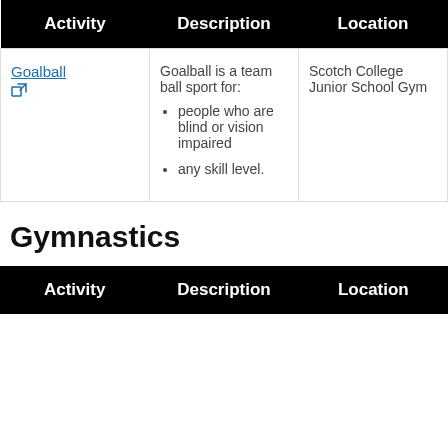| Activity | Description | Location |
| --- | --- | --- |
| Goalball [external link] | Goalball is a team ball sport for:
- people who are blind or vision impaired
- any skill level. | Scotch College Junior School Gym |
Gymnastics
| Activity | Description | Location |
| --- | --- | --- |